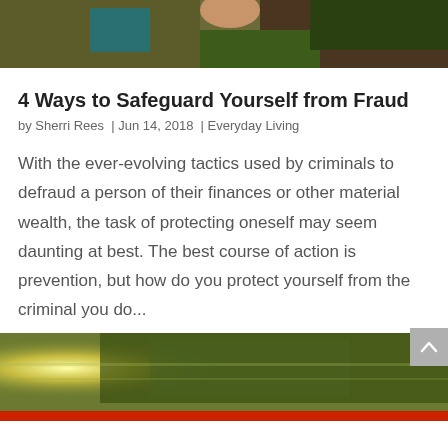[Figure (photo): Abstract illustration of a person reading a book, with geometric shapes in olive green, teal, and brown tones.]
4 Ways to Safeguard Yourself from Fraud
by Sherri Rees  |  Jun 14, 2018  |  Everyday Living
With the ever-evolving tactics used by criminals to defraud a person of their finances or other material wealth, the task of protecting oneself may seem daunting at best. The best course of action is prevention, but how do you protect yourself from the criminal you do...
[Figure (photo): Blurred outdoor photo showing trees and what appears to be a road or vehicle, with warm sunlight on the left.]